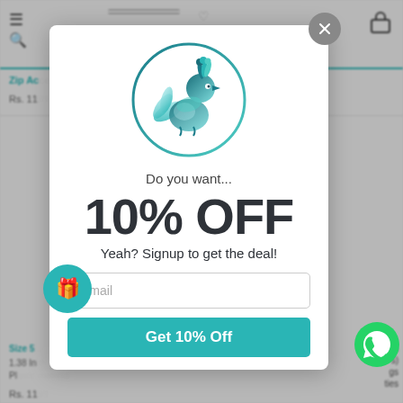[Figure (screenshot): E-commerce website background showing navigation bar with hamburger menu, search icon, cart icon, teal accent line, product text 'Zip Ac...' and price 'Rs. 11...' partially visible. Bottom shows size info, product details, and price 'Rs. 11...']
[Figure (logo): Circular logo with teal gradient peacock bird illustration inside a teal circle border]
Do you want...
10% OFF
Yeah? Signup to get the deal!
Email
Get 10% Off